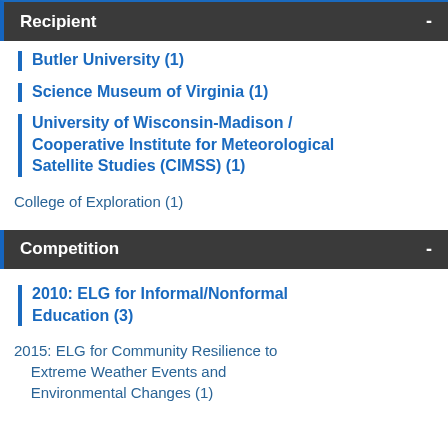Recipient
Butler University (1)
Science Museum of Virginia (1)
University of Wisconsin-Madison / Cooperative Institute for Meteorological Satellite Studies (CIMSS) (1)
College of Exploration (1)
Competition
2010: ELG for Informal/Nonformal Education (3)
2015: ELG for Community Resilience to Extreme Weather Events and Environmental Changes (1)